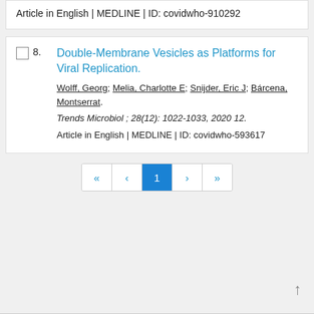Article in English | MEDLINE | ID: covidwho-910292
Double-Membrane Vesicles as Platforms for Viral Replication. Wolff, Georg; Melia, Charlotte E; Snijder, Eric J; Bárcena, Montserrat. Trends Microbiol ; 28(12): 1022-1033, 2020 12. Article in English | MEDLINE | ID: covidwho-593617
Pagination: « ‹ 1 › »